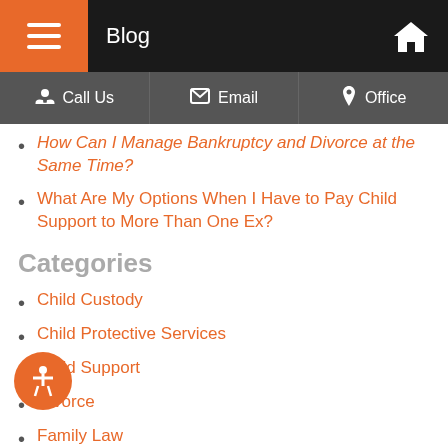Blog
How Can I Manage Bankruptcy and Divorce at the Same Time?
What Are My Options When I Have to Pay Child Support to More Than One Ex?
Categories
Child Custody
Child Protective Services
Child Support
Divorce
Family Law
Military Divorce
Military Family Law